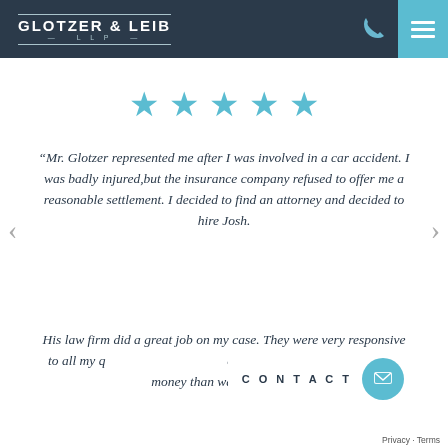GLOTZER & LEIB LLP
[Figure (illustration): Five teal/cyan five-pointed stars in a row, representing a 5-star rating]
“Mr. Glotzer represented me after I was involved in a car accident. I was badly injured,but the insurance company refused to offer me a reasonable settlement. I decided to find an attorney and decided to hire Josh.
His law firm did a great job on my case. They were very responsive to all my questions and obtained a great resolution for my case. I recovered more money than was originally offered. I would recommend their firm to friends and family.”